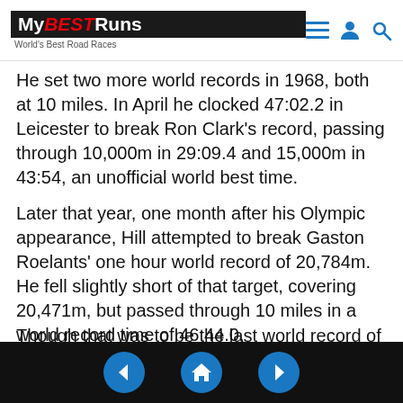MyBESTRuns — World's Best Road Races
He set two more world records in 1968, both at 10 miles. In April he clocked 47:02.2 in Leicester to break Ron Clark's record, passing through 10,000m in 29:09.4 and 15,000m in 43:54, an unofficial world best time.
Later that year, one month after his Olympic appearance, Hill attempted to break Gaston Roelants' one hour world record of 20,784m. He fell slightly short of that target, covering 20,471m, but passed through 10 miles in a world record time of 46:44.0.
Though that was to be the last world record of his career, Hill became a big-time performer from that point onwards, winning big city marathons and landing major medals.
Navigation: previous, home, next